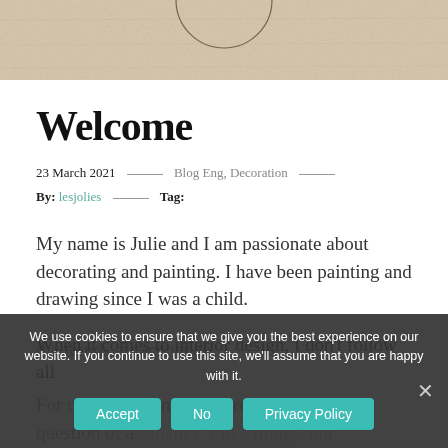[Figure (photo): Top portion of a decorative/artistic image, beige/cream textured background with partial circular drawing visible]
Welcome
23 March 2021  —  Blog Eng, Decoration  —
By: lesjolies  —  Tag:
My name is Julie and I am passionate about decorating and painting. I have been painting and drawing since I was a child.
When it comes to interior design, I don't follow all the trends at face value.
For me, decorating is much more than a question of aesthetics. I like things, but decorating allows me to create a harmonious and
We use cookies to ensure that we give you the best experience on our website. If you continue to use this site, we'll assume that you are happy with it.